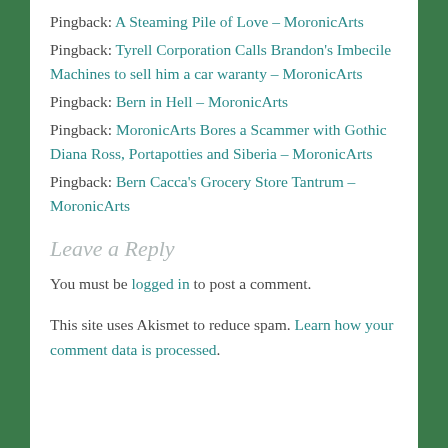Pingback: A Steaming Pile of Love – MoronicArts
Pingback: Tyrell Corporation Calls Brandon's Imbecile Machines to sell him a car waranty – MoronicArts
Pingback: Bern in Hell – MoronicArts
Pingback: MoronicArts Bores a Scammer with Gothic Diana Ross, Portapotties and Siberia – MoronicArts
Pingback: Bern Cacca's Grocery Store Tantrum – MoronicArts
Leave a Reply
You must be logged in to post a comment.
This site uses Akismet to reduce spam. Learn how your comment data is processed.